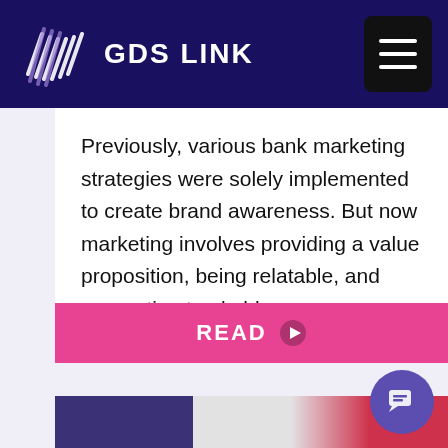GDS LINK
Previously, various bank marketing strategies were solely implemented to create brand awareness. But now marketing involves providing a value proposition, being relatable, and generating trackable revenue.